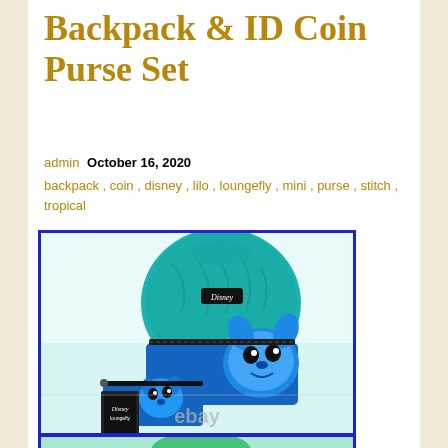Backpack & ID Coin Purse Set
admin   October 16, 2020
backpack , coin , disney , lilo , loungefly , mini , purse , stitch , tropical
[Figure (photo): Loungefly Disney Lilo & Stitch tropical mini backpack and ID coin purse set displayed on white background with ebay watermark]
[Figure (photo): Partial view of second product image, cropped at bottom of page]